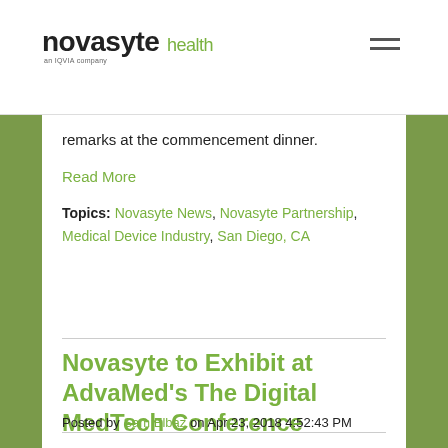novasyte health an IQVIA company
remarks at the commencement dinner.
Read More
Topics: Novasyte News, Novasyte Partnership, Medical Device Industry, San Diego, CA
Novasyte to Exhibit at AdvaMed's The Digital MedTech Conference
Posted by Sam Elbaz on Apr 23, 2018 4:52:43 PM